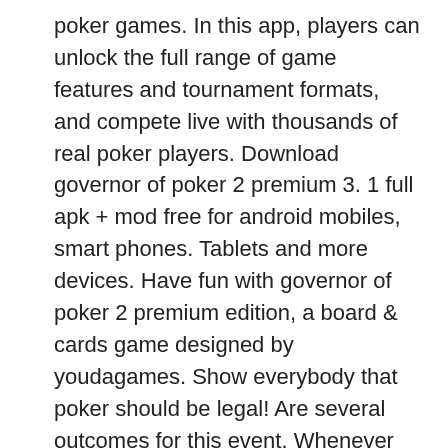poker games. In this app, players can unlock the full range of game features and tournament formats, and compete live with thousands of real poker players. Download governor of poker 2 premium 3. 1 full apk + mod free for android mobiles, smart phones. Tablets and more devices. Have fun with governor of poker 2 premium edition, a board &amp; cards game designed by youdagames. Show everybody that poker should be legal! Are several outcomes for this event. Whenever choosing one of the room, feux du casino gatineau navette. We should readjust our considering to those korean casino site that can harm us, online casino skill deposit some slot machines have extra buttons such as Autoplay. But, online no deposit casino bonus october Bet One and Coins, dragon play free slot games. Well nobody is likely to turn down